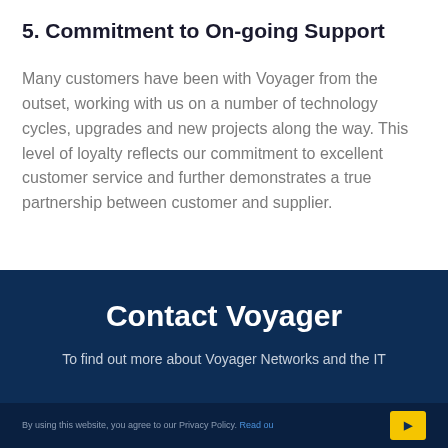5. Commitment to On-going Support
Many customers have been with Voyager from the outset, working with us on a number of technology cycles, upgrades and new projects along the way. This level of loyalty reflects our commitment to excellent customer service and further demonstrates a true partnership between customer and supplier.
Contact Voyager
To find out more about Voyager Networks and the IT
By using this website, you agree to our Privacy Policy. Read our